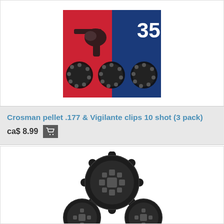[Figure (photo): Product image of Crosman pellet .177 & Vigilante clips 10 shot 3 pack — red and blue packaging with gun silhouette and number 357, showing three black rotary clips]
Crosman pellet .177 & Vigilante clips 10 shot (3 pack)
ca$ 8.99
[Figure (photo): Product image showing black rotary pellet clips for air pistol — three dark circular clips with holes, viewed from above]